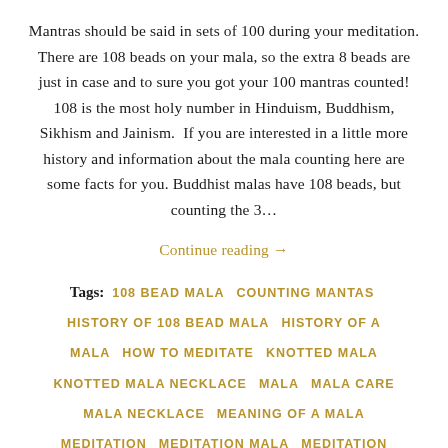Mantras should be said in sets of 100 during your meditation. There are 108 beads on your mala, so the extra 8 beads are just in case and to sure you got your 100 mantras counted! 108 is the most holy number in Hinduism, Buddhism, Sikhism and Jainism.  If you are interested in a little more history and information about the mala counting here are some facts for you. Buddhist malas have 108 beads, but counting the 3…
Continue reading →
Tags:  108 BEAD MALA   COUNTING MANTAS   HISTORY OF 108 BEAD MALA   HISTORY OF A MALA   HOW TO MEDITATE   KNOTTED MALA   KNOTTED MALA NECKLACE   MALA   MALA CARE   MALA NECKLACE   MEANING OF A MALA   MEDITATION   MEDITATION MALA   MEDITATION NECKLACE   REASON FOR 108 MALA   WHY 108 BEADS   YOGA MALA